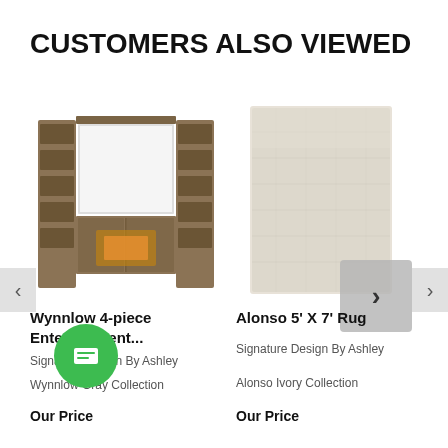CUSTOMERS ALSO VIEWED
[Figure (photo): Wynnlow 4-piece entertainment center with built-in fireplace, barn door style, rustic gray finish]
Wynnlow 4-piece Entertainment...
Signature Design By Ashley
Wynnlow Gray Collection
Our Price
[Figure (photo): Alonso 5 by 7 rug in ivory/beige color, rectangular, light textured fabric]
Alonso 5' X 7' Rug
Signature Design By Ashley
Alonso Ivory Collection
Our Price